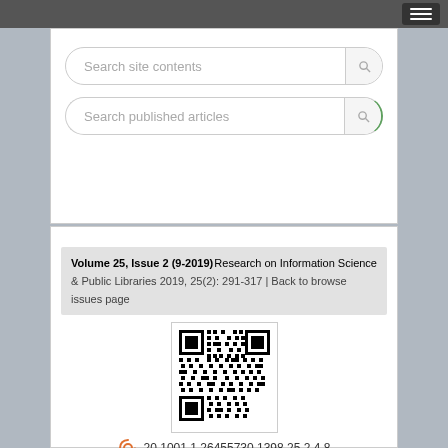Search site contents
Search published articles
Volume 25, Issue 2 (9-2019)   Research on Information Science & Public Libraries 2019, 25(2): 291-317 | Back to browse issues page
[Figure (other): QR code for DOI 20.1001.1.26455730.1398.25.2.4.8]
20.1001.1.26455730.1398.25.2.4.8